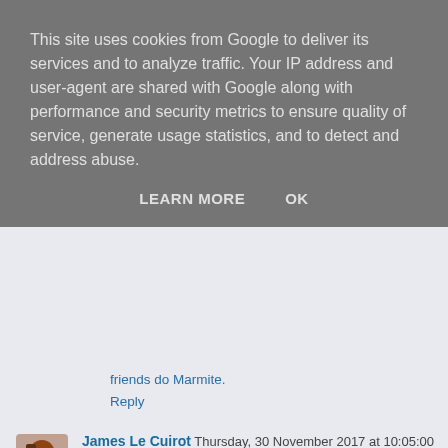This site uses cookies from Google to deliver its services and to analyze traffic. Your IP address and user-agent are shared with Google along with performance and security metrics to ensure quality of service, generate usage statistics, and to detect and address abuse.
LEARN MORE   OK
friends do Marmite.
Reply
James Le Cuirot  Thursday, 30 November 2017 at 10:05:00 GMT
Mmm yes, I'm also a corn bread fan but not tried toasting it.
Reply
Phil  Thursday, 30 November 2017 at 10:19:00 GMT
"(a) my wife does feed me" I hope that you feed your wife too, it's 2017 after all.